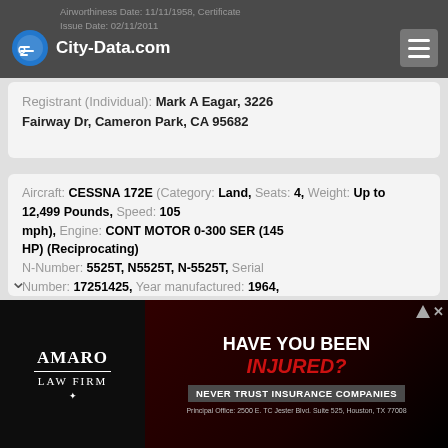City-Data.com — Airworthiness Date: 11/11/1958, Certificate Issue Date: 02/11/2011
Registrant (Individual): Mark A Eagar, 3226 Fairway Dr, Cameron Park, CA 95682
Aircraft: CESSNA 172E (Category: Land, Seats: 4, Weight: Up to 12,499 Pounds, Speed: 105 mph), Engine: CONT MOTOR 0-300 SER (145 HP) (Reciprocating)
N-Number: 5525T, N5525T, N-5525T, Serial Number: 17251425, Year manufactured: 1964, Airworthiness Date: 03/17/1964
Registrant (Individual): Reported Sale, 3182 Fairway Dr, Cameron Park, CA 95682
[Figure (screenshot): Advertisement for Amaro Law Firm: 'Have You Been Injured? Never Trust Insurance Companies. Principal Office: 2500 E. TC Jester Blvd. Suite 525, Houston, TX 77008']